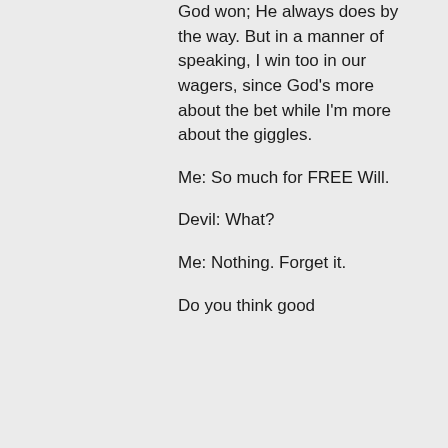God won; He always does by the way. But in a manner of speaking, I win too in our wagers, since God's more about the bet while I'm more about the giggles.

Me: So much for FREE Will.

Devil: What?

Me: Nothing. Forget it.

Do you think good